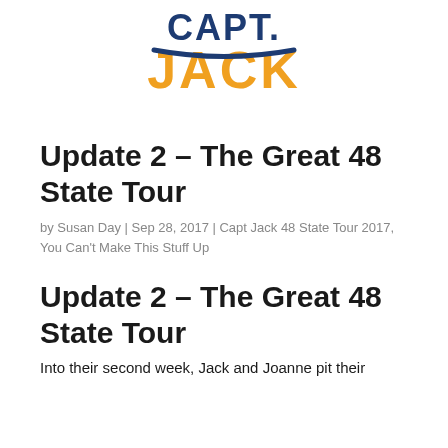[Figure (logo): Capt. Jack logo with orange and navy blue stylized text]
Update 2 – The Great 48 State Tour
by Susan Day | Sep 28, 2017 | Capt Jack 48 State Tour 2017, You Can't Make This Stuff Up
Update 2 – The Great 48 State Tour
Into their second week, Jack and Joanne pit their